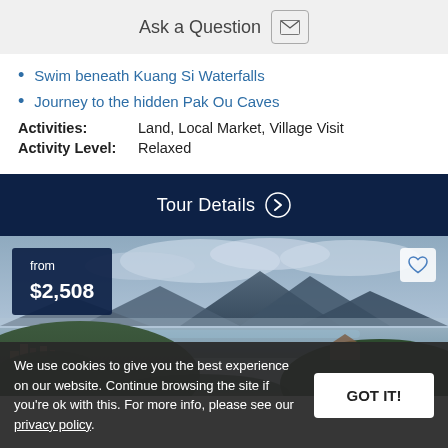Ask a Question
Swim beneath Kuang Si Waterfalls
Journey to the hidden Pak Ou Caves
Activities: Land, Local Market, Village Visit
Activity Level: Relaxed
Tour Details
[Figure (photo): Aerial landscape photo of Luang Prabang, Laos, showing river, mountains, and town with from $2,508 price badge]
We use cookies to give you the best experience on our website. Continue browsing the site if you're ok with this. For more info, please see our privacy policy.
Best of Vietnam & La...